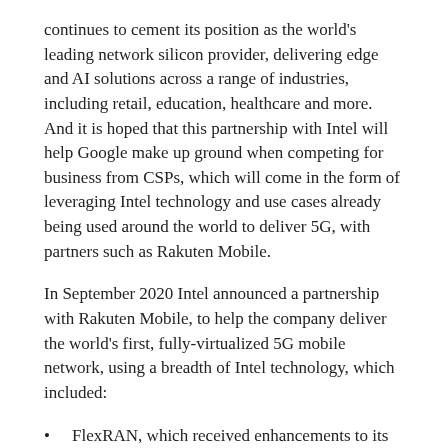continues to cement its position as the world's leading network silicon provider, delivering edge and AI solutions across a range of industries, including retail, education, healthcare and more. And it is hoped that this partnership with Intel will help Google make up ground when competing for business from CSPs, which will come in the form of leveraging Intel technology and use cases already being used around the world to deliver 5G, with partners such as Rakuten Mobile.
In September 2020 Intel announced a partnership with Rakuten Mobile, to help the company deliver the world's first, fully-virtualized 5G mobile network, using a breadth of Intel technology, which included:
FlexRAN, which received enhancements to its software reference architecture;